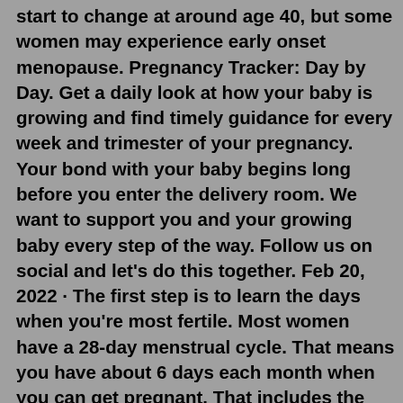start to change at around age 40, but some women may experience early onset menopause. Pregnancy Tracker: Day by Day. Get a daily look at how your baby is growing and find timely guidance for every week and trimester of your pregnancy. Your bond with your baby begins long before you enter the delivery room. We want to support you and your growing baby every step of the way. Follow us on social and let's do this together. Feb 20, 2022 · The first step is to learn the days when you're most fertile. Most women have a 28-day menstrual cycle. That means you have about 6 days each month when you can get pregnant. That includes the day ... Feb 20, 2022 · The first step is to learn the days when you're most fertile. Most women have a 28-day menstrual cycle. That means you have about 6 days each month when you can get pregnant. That includes the day ... Apr 21, 2021 · On the 27th day of the cycle, a sign of pregnancy (negative test value) is a change in temperature. More precisely, it began to decline